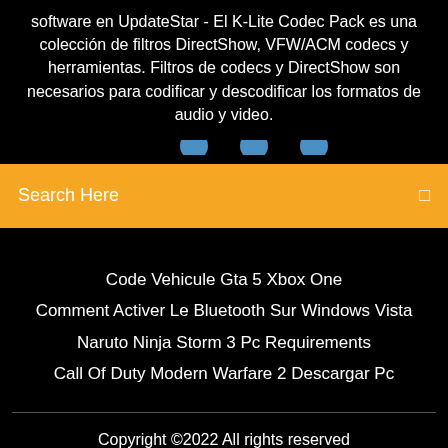software en UpdateStar - El K-Lite Codec Pack es una colección de filtros DirectShow, VFW/ACM codecs y herramientas. Filtros de codecs y DirectShow son necesarios para codificar y descodificar los formatos de audio y video.
[Figure (other): Three partially visible blue social media icon circles in a row on a black background]
Search Here
Code Vehicule Gta 5 Xbox One
Comment Activer Le Bluetooth Sur Windows Vista
Naruto Ninja Storm 3 Pc Requirements
Call Of Duty Modern Warfare 2 Descargar Pc
Copyright ©2022 All rights reserved